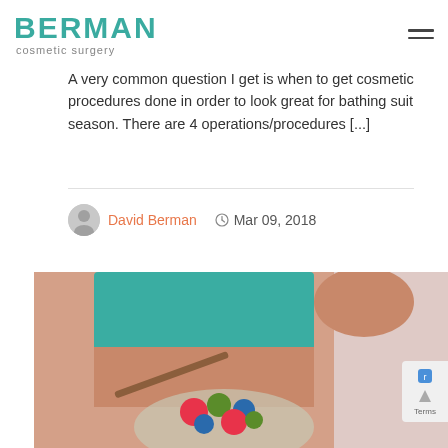BERMAN cosmetic surgery
A very common question I get is when to get cosmetic procedures done in order to look great for bathing suit season. There are 4 operations/procedures [...]
David Berman   Mar 09, 2018
[Figure (photo): Person in teal crop top holding a bowl of mixed fruit salad with berries, kiwi and strawberries, wooden spoon visible]